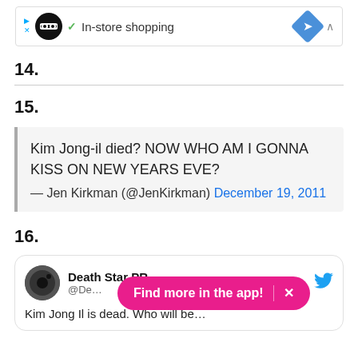[Figure (screenshot): Ad banner with logo, in-store shopping text, and navigation arrow]
14.
15.
Kim Jong-il died? NOW WHO AM I GONNA KISS ON NEW YEARS EVE?
— Jen Kirkman (@JenKirkman) December 19, 2011
16.
Death Star PR @De... Kim Jong Il is dead. Who will be...
[Figure (screenshot): Find more in the app! pill overlay button]